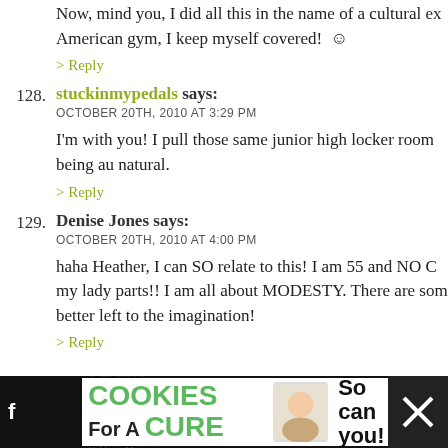Now, mind you, I did all this in the name of a cultural ex... American gym, I keep myself covered! :)
> Reply
128. stuckinmypedals says:
OCTOBER 20TH, 2010 AT 3:29 PM
I'm with you! I pull those same junior high locker room... being au natural.
> Reply
129. Denise Jones says:
OCTOBER 20TH, 2010 AT 4:00 PM
haha Heather, I can SO relate to this! I am 55 and NO C... my lady parts!! I am all about MODESTY. There are som... better left to the imagination!
> Reply
[Figure (advertisement): Cookie-based charity advertisement banner at bottom of page: 'I Bake COOKIES For A CURE' with green cookies badge and 'So can you!' text]